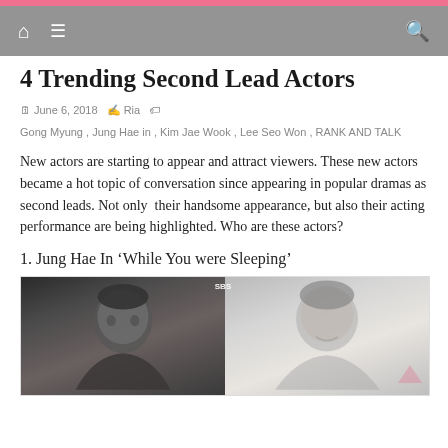Navigation bar with home, menu icons and search
4 Trending Second Lead Actors
June 6, 2018  Ria  Gong Myung , Jung Hae in , Kim Jae Wook , Lee Seo Won , RANK AND TALK
New actors are starting to appear and attract viewers. These new actors became a hot topic of conversation since appearing in popular dramas as second leads. Not only  their handsome appearance, but also their acting performance are being highlighted. Who are these actors?
1. Jung Hae In ‘While You were Sleeping’
[Figure (photo): Two side-by-side photos of Jung Hae In, one from a drama scene and one promotional photo]